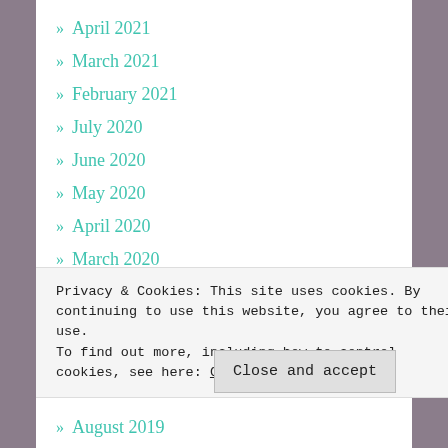» April 2021
» March 2021
» February 2021
» July 2020
» June 2020
» May 2020
» April 2020
» March 2020
» February 2020
» January 2020
» December 2019
Privacy & Cookies: This site uses cookies. By continuing to use this website, you agree to their use. To find out more, including how to control cookies, see here: Cookie Policy
» August 2019